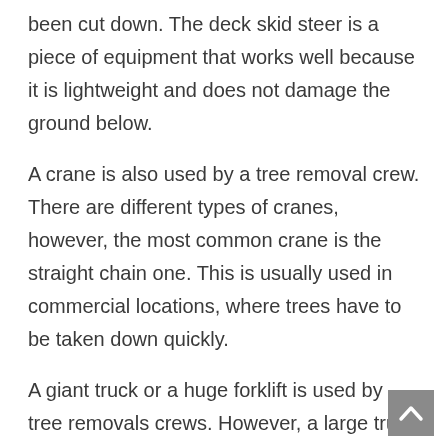the tree out of the ground, usually after the tree has been cut down. The deck skid steer is a piece of equipment that works well because it is lightweight and does not damage the ground below.
A crane is also used by a tree removal crew. There are different types of cranes, however, the most common crane is the straight chain one. This is usually used in commercial locations, where trees have to be taken down quickly.
A giant truck or a huge forklift is used by tree removals crews. However, a large truck can weigh up to two tons, which can be very heavy to move. The crane allows the contractor to move the tree out of the way, while a truck can be towed by a tow truck.